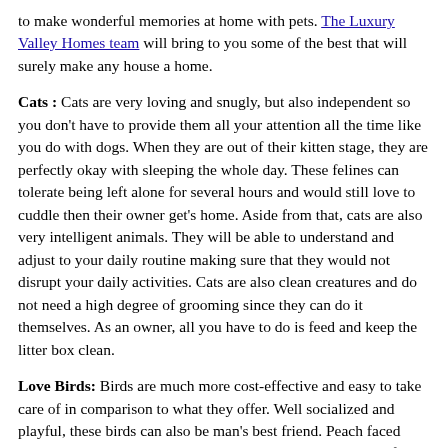to make wonderful memories at home with pets. The Luxury Valley Homes team will bring to you some of the best that will surely make any house a home.
Cats : Cats are very loving and snugly, but also independent so you don't have to provide them all your attention all the time like you do with dogs. When they are out of their kitten stage, they are perfectly okay with sleeping the whole day. These felines can tolerate being left alone for several hours and would still love to cuddle then their owner get's home. Aside from that, cats are also very intelligent animals. They will be able to understand and adjust to your daily routine making sure that they would not disrupt your daily activities. Cats are also clean creatures and do not need a high degree of grooming since they can do it themselves. As an owner, all you have to do is feed and keep the litter box clean.
Love Birds: Birds are much more cost-effective and easy to take care of in comparison to what they offer. Well socialized and playful, these birds can also be man's best friend. Peach faced love birds posses colors that are pleasing to the eyes. Peach-faced lovebirds like to turn any activity into a game, and they stay active much of the time, but when the time comes to settle down and rest, they enjoy snuggling with their owners. When hand-trained you need not worry about them flying away because they can trust you enough to stay in your pocket or on your collar. Like parrots, love